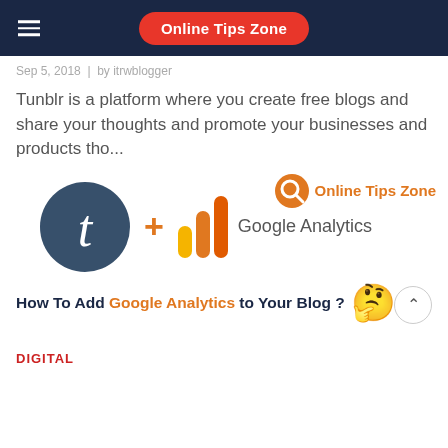Online Tips Zone
Sep 5, 2018  |  by itrwblogger
Tunblr is a platform where you create free blogs and share your thoughts and promote your businesses and products tho...
[Figure (illustration): Tumblr logo (dark blue circle with white italic t) plus sign and Google Analytics logo with bars, overlaid with Online Tips Zone orange badge. Below: text 'How To Add Google Analytics to Your Blog ?' with thinking face emoji.]
DIGITAL